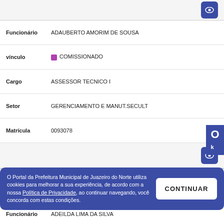| Campo | Valor |
| --- | --- |
| Funcionário | ADAUBERTO AMORIM DE SOUSA |
| vínculo | COMISSIONADO |
| Cargo | ASSESSOR TECNICO I |
| Setor | GERENCIAMENTO E MANUT.SECULT |
| Matrícula | 0093078 |
| Campo | Valor |
| --- | --- |
| Funcionário | ADAUTO BEZERRA PINHEIRO |
| vínculo | CONCURSADO |
| Cargo | AGENTE ADMINISTRATIVO |
| Setor | GERENC.FUNDEB 70% INFANTIL |
O Portal da Prefeitura Municipal de Juazeiro do Norte utiliza cookies para melhorar a sua experiência, de acordo com a nossa Política de Privacidade, ao continuar navegando, você concorda com estas condições.
| Campo | Valor |
| --- | --- |
| Funcionário | ADEILDA LIMA DA SILVA |